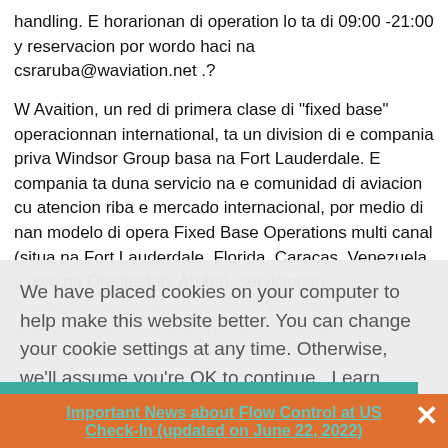handling. E horarionan di operation lo ta di 09:00 -21:00 y reservacion por wordo haci na csraruba@waviation.net .?
W Avaition, un red di primera clase di "fixed base" operacionnan international, ta un division di e compania priva Windsor Group basa na Fort Lauderdale. E compania ta duna servicio na e comunidad di aviacion cu atencion riba e mercado internacional, por medio di nan modelo di opera Fixed Base Operations multi canal (situa na Fort Lauderdale, Florida, Caracas, Venezuela y awo na Oranjestad, Aruba), servicionan di charter y maneho di avionnan. W Aviation Y Windsor Jet Management ta emplea aproximadamente 100 empleado den tur nan companianan .
We have placed cookies on your computer to help make this website better. You can change your cookie settings at any time. Otherwise, we'll assume you're OK to continue. Learn more
<< PREVIOUS    NEXT >>
Dismiss
Important News about Flow Control at US Check-In (updated on June 22, 2022)